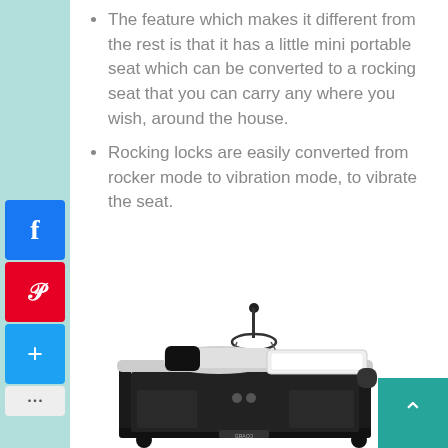The feature which makes it different from the rest is that it has a little mini portable seat which can be converted to a rocking seat that you can carry any where you wish, around the house.
Rocking locks are easily converted from rocker mode to vibration mode, to vibrate the seat.
[Figure (photo): Baby play yard / pack-n-play product photo showing a black Graco baby crib with a built-in bassinet, toy mobile with hanging star and teardrop shapes, and a changing table attachment on a white background.]